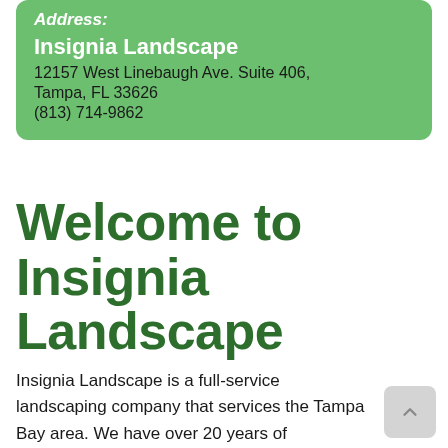Address:
Insignia Landscape
12157 West Linebaugh Ave. Suite 406,
Tampa, FL 33626
(813) 714-9862
Welcome to Insignia Landscape
Insignia Landscape is a full-service landscaping company that services the Tampa Bay area. We have over 20 years of experience with trim palm trees services. All our trim palm trees services are done with quality and care for your home in a professional manner. All our staff is highly